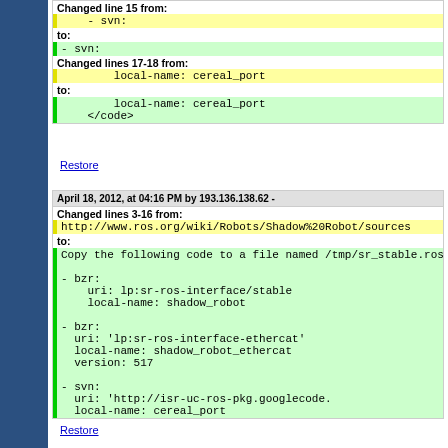Changed line 15 from:
- svn:
to:
- svn:
Changed lines 17-18 from:
local-name: cereal_port
to:
local-name: cereal_port
    </code>
Restore
April 18, 2012, at 04:16 PM by 193.136.138.62 -
Changed lines 3-16 from:
http://www.ros.org/wiki/Robots/Shadow%20Robot/sources
to:
Copy the following code to a file named /tmp/sr_stable.ros
- bzr:
    uri: lp:sr-ros-interface/stable
    local-name: shadow_robot

- bzr:
  uri: 'lp:sr-ros-interface-ethercat'
  local-name: shadow_robot_ethercat
  version: 517

- svn:
  uri: 'http://isr-uc-ros-pkg.googlecode.
  local-name: cereal_port
Restore